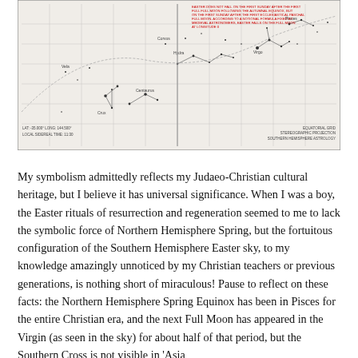[Figure (other): A star chart / celestial map showing the Southern Hemisphere Easter sky, with constellation lines, labels, grid lines (right ascension and declination), and annotated text in red describing Easter and the Full Moon in relation to the Southern Cross and the Virgin. Text annotations include latitude/longitude and 'LOCAL SIDEREAL TIME' and 'SOUTHERN HEMISPHERE ASTROLOGY'.]
My symbolism admittedly reflects my Judaeo-Christian cultural heritage, but I believe it has universal significance. When I was a boy, the Easter rituals of resurrection and regeneration seemed to me to lack the symbolic force of Northern Hemisphere Spring, but the fortuitous configuration of the Southern Hemisphere Easter sky, to my knowledge amazingly unnoticed by my Christian teachers or previous generations, is nothing short of miraculous! Pause to reflect on these facts: the Northern Hemisphere Spring Equinox has been in Pisces for the entire Christian era, and the next Full Moon has appeared in the Virgin (as seen in the sky) for about half of that period, but the Southern Cross is not visible in 'Asia